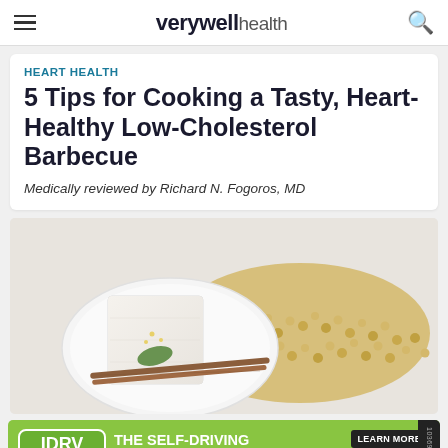verywell health
HEART HEALTH
5 Tips for Cooking a Tasty, Heart-Healthy Low-Cholesterol Barbecue
Medically reviewed by Richard N. Fogoros, MD
[Figure (photo): White plate with a block of tofu garnished with a green herb, wooden chopsticks resting on the plate, surrounded by spilled golden soybeans on a white surface]
[Figure (screenshot): Advertisement banner for IDRV from iShares - 'The Self-Driving EV & Tech ETF' with Learn More button and Fidelity branding on green background]